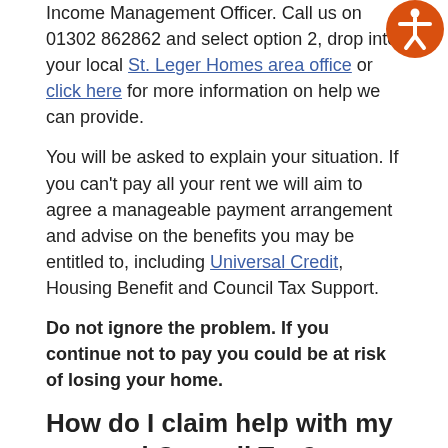Income Management Officer. Call us on 01302 862862 and select option 2, drop into your local St. Leger Homes area office or click here for more information on help we can provide.
You will be asked to explain your situation. If you can't pay all your rent we will aim to agree a manageable payment arrangement and advise on the benefits you may be entitled to, including Universal Credit, Housing Benefit and Council Tax Support.
Do not ignore the problem. If you continue not to pay you could be at risk of losing your home.
How do I claim help with my rent and Council Tax?
If you are working age you may be entitled to Universal Credit which also includes Housing Costs (help with rent).